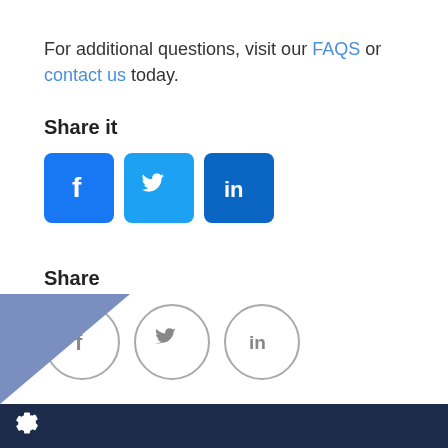For additional questions, visit our FAQS or contact us today.
Share it
[Figure (infographic): Three filled social media share buttons: Facebook (blue square with f), Twitter (light blue square with bird), LinkedIn (teal square with in)]
Share
[Figure (infographic): Three outlined circle social media share buttons: Facebook (f), Twitter (bird), LinkedIn (in)]
[Figure (logo): Footer with dark navy bar, blue triangle decoration on bottom left, and gear/settings icon in white]